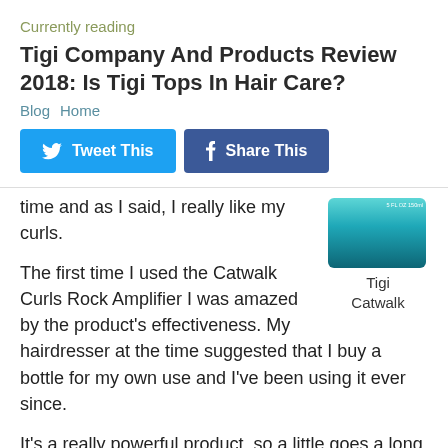Currently reading
Tigi Company And Products Review 2018: Is Tigi Tops In Hair Care?
Blog  Home
Tweet This  Share This
time and as I said, I really like my curls.
[Figure (photo): Tigi Catwalk product container, teal/turquoise cylindrical jar with label text]
Tigi Catwalk
The first time I used the Catwalk Curls Rock Amplifier I was amazed by the product’s effectiveness. My hairdresser at the time suggested that I buy a bottle for my own use and I’ve been using it ever since.
It’s a really powerful product, so a little goes a long way – I generally only use 2-3 pumps through my moist hair after shampooing and